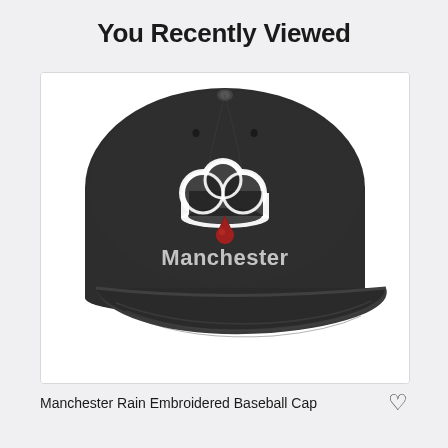You Recently Viewed
[Figure (photo): A black baseball cap with an embroidered white cloud logo with a red raindrop, and the word 'Manchester' in white text below the logo.]
Manchester Rain Embroidered Baseball Cap ♡